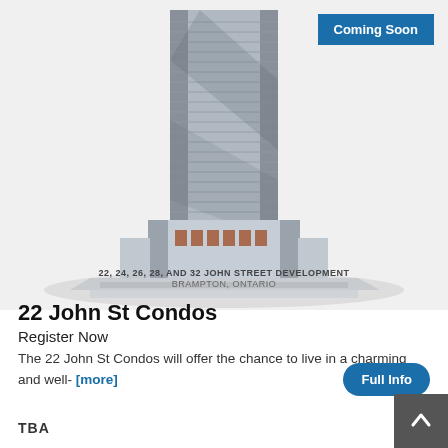[Figure (illustration): Architectural rendering of a tall modern condominium tower (22, 24, 26, 28, and 32 John Street Development) in Brampton, Ontario. The building is a multi-storey glass and concrete tower with stepped balconies.]
22, 24, 26, 28, AND 32 JOHN STREET DEVELOPMENT
BRAMPTON, ONTARIO
22 John St Condos
Register Now
The 22 John St Condos will offer the chance to live in a charming and well- [more]
TBA